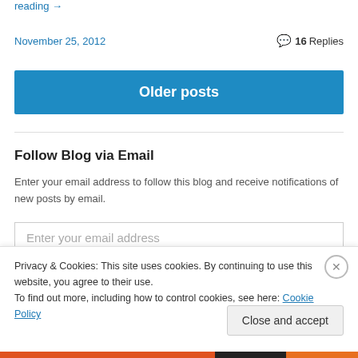reading →
November 25, 2012    💬 16 Replies
Older posts
Follow Blog via Email
Enter your email address to follow this blog and receive notifications of new posts by email.
Enter your email address
Privacy & Cookies: This site uses cookies. By continuing to use this website, you agree to their use.
To find out more, including how to control cookies, see here: Cookie Policy
Close and accept